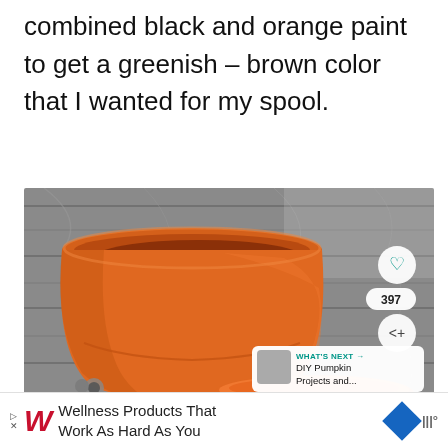combined black and orange paint to get a greenish – brown color that I wanted for my spool.
[Figure (photo): A terracotta clay flower pot painted orange, sitting on a gray wooden surface with a saucer visible at the bottom right. Social media UI elements overlay the image including a heart/like button, share count of 397, share button, and a 'What's Next' card showing 'DIY Pumpkin Projects and...']
Wellness Products That Work As Hard As You